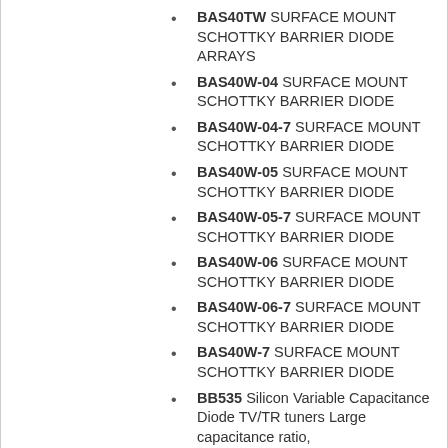BAS40TW SURFACE MOUNT SCHOTTKY BARRIER DIODE ARRAYS
BAS40W-04 SURFACE MOUNT SCHOTTKY BARRIER DIODE
BAS40W-04-7 SURFACE MOUNT SCHOTTKY BARRIER DIODE
BAS40W-05 SURFACE MOUNT SCHOTTKY BARRIER DIODE
BAS40W-05-7 SURFACE MOUNT SCHOTTKY BARRIER DIODE
BAS40W-06 SURFACE MOUNT SCHOTTKY BARRIER DIODE
BAS40W-06-7 SURFACE MOUNT SCHOTTKY BARRIER DIODE
BAS40W-7 SURFACE MOUNT SCHOTTKY BARRIER DIODE
BB535 Silicon Variable Capacitance Diode TV/TR tuners Large capacitance ratio,